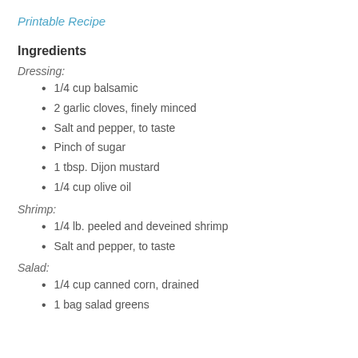Printable Recipe
Ingredients
Dressing:
1/4 cup balsamic
2 garlic cloves, finely minced
Salt and pepper, to taste
Pinch of sugar
1 tbsp. Dijon mustard
1/4 cup olive oil
Shrimp:
1/4 lb. peeled and deveined shrimp
Salt and pepper, to taste
Salad:
1/4 cup canned corn, drained
1 bag salad greens